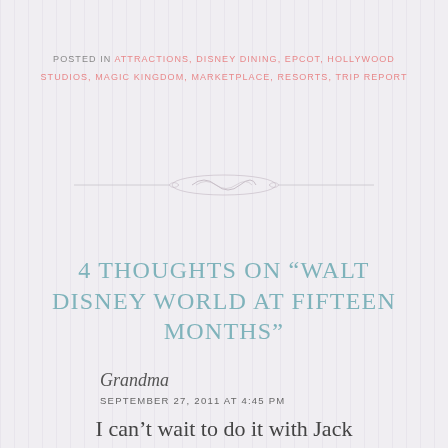POSTED IN ATTRACTIONS, DISNEY DINING, EPCOT, HOLLYWOOD STUDIOS, MAGIC KINGDOM, MARKETPLACE, RESORTS, TRIP REPORT
[Figure (illustration): Decorative horizontal divider with ornamental swirl/scroll motif in light gray]
4 THOUGHTS ON “WALT DISNEY WORLD AT FIFTEEN MONTHS”
Grandma
SEPTEMBER 27, 2011 AT 4:45 PM
I can’t wait to do it with Jack